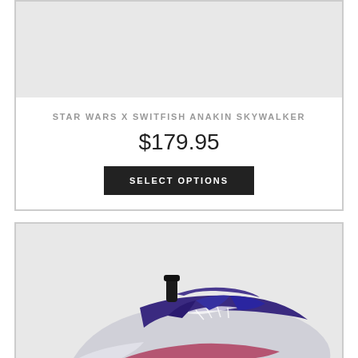[Figure (photo): Product image area (light gray background, partially visible at top)]
STAR WARS X SWITFISH ANAKIN SKYWALKER
$179.95
SELECT OPTIONS
[Figure (photo): Photo of a sneaker — purple, white, red/dark pink colorway with black pull tab, white laces, silver sole, photographed against light gray background. Star Wars x Switfish design.]